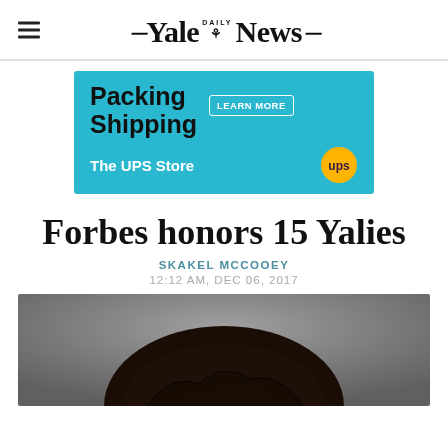Yale Daily News
[Figure (infographic): UPS Store advertisement banner: 'Packing Shipping LEARN MORE The UPS Store' on teal/blue background with UPS logo]
Forbes honors 15 Yalies
SKAKEL MCCOOEY
12:12 AM, DEC 06, 2017
[Figure (photo): Partial photo of a person, showing the top of their head with dark hair against a grey background]